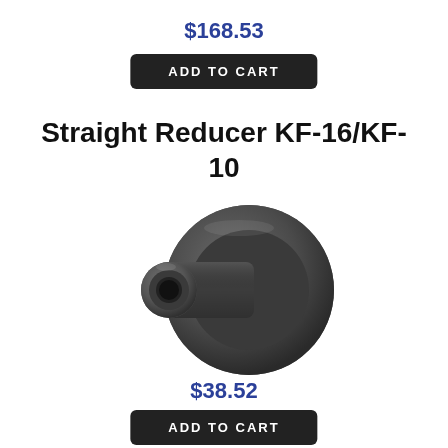$168.53
ADD TO CART
Straight Reducer KF-16/KF-10
[Figure (photo): 3D render of a Straight Reducer KF-16/KF-10 vacuum fitting component, dark grey metallic color, showing the stepped reducer with a larger flange on one side and smaller flanged opening on the other side.]
$38.52
ADD TO CART